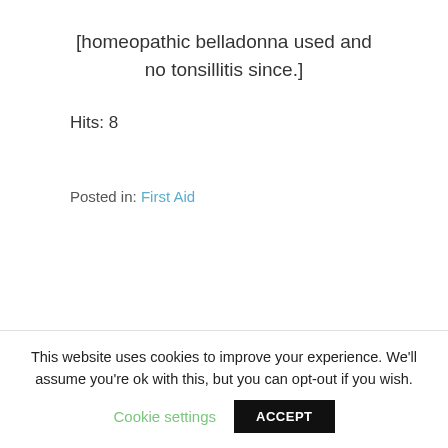[homeopathic belladonna used and no tonsillitis since.]
Hits: 8
Posted in: First Aid
← Flu Shot Alternative to Vaccination..
Natural Eczema Treatment! Great photos!. →
This website uses cookies to improve your experience. We'll assume you're ok with this, but you can opt-out if you wish.
Cookie settings
ACCEPT